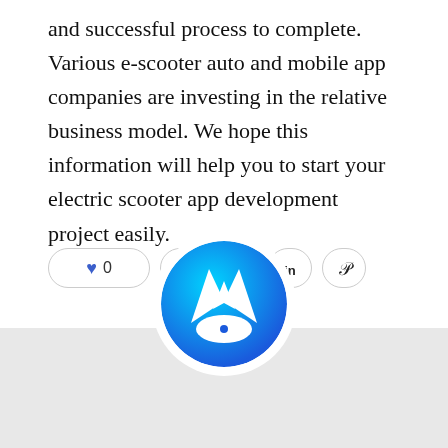and successful process to complete. Various e-scooter auto and mobile app companies are investing in the relative business model. We hope this information will help you to start your electric scooter app development project easily.
[Figure (other): Social sharing bar with heart/like button showing 0 likes, and icons for Facebook, Twitter, LinkedIn, and Pinterest]
[Figure (logo): Circular logo with blue gradient background featuring a white stylized arrow/location pin icon pointing upward with a dot below it, overlaid on a gray background section]